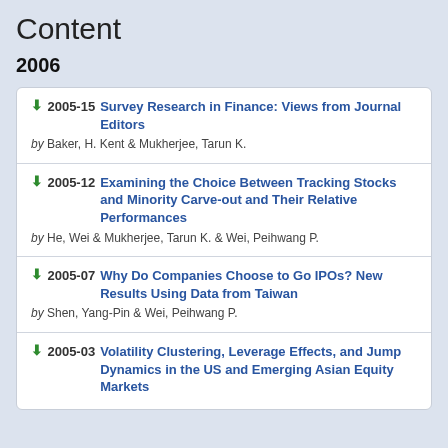Content
2006
2005-15 Survey Research in Finance: Views from Journal Editors by Baker, H. Kent & Mukherjee, Tarun K.
2005-12 Examining the Choice Between Tracking Stocks and Minority Carve-out and Their Relative Performances by He, Wei & Mukherjee, Tarun K. & Wei, Peihwang P.
2005-07 Why Do Companies Choose to Go IPOs? New Results Using Data from Taiwan by Shen, Yang-Pin & Wei, Peihwang P.
2005-03 Volatility Clustering, Leverage Effects, and Jump Dynamics in the US and Emerging Asian Equity Markets